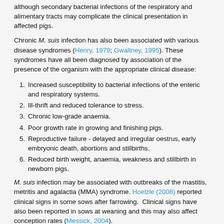although secondary bacterial infections of the respiratory and alimentary tracts may complicate the clinical presentation in affected pigs.
Chronic M. suis infection has also been associated with various disease syndromes (Henry, 1979; Gwaltney, 1995). These syndromes have all been diagnosed by association of the presence of the organism with the appropriate clinical disease:
1. Increased susceptibility to bacterial infections of the enteric and respiratory systems.
2. Ill-thrift and reduced tolerance to stress.
3. Chronic low-grade anaemia.
4. Poor growth rate in growing and finishing pigs.
5. Reproductive failure - delayed and irregular oestrus, early embryonic death, abortions and stillbirths.
6. Reduced birth weight, anaemia, weakness and stillbirth in newborn pigs.
M. suis infection may be associated with outbreaks of the mastitis, metritis and agalactia (MMA) syndrome. Hoelzle (2008) reported clinical signs in some sows after farrowing. Clinical signs have also been reported in sows at weaning and this may also affect conception rates (Messick, 2004).
In these presentations morbidity is variable but may be high. Piglet...